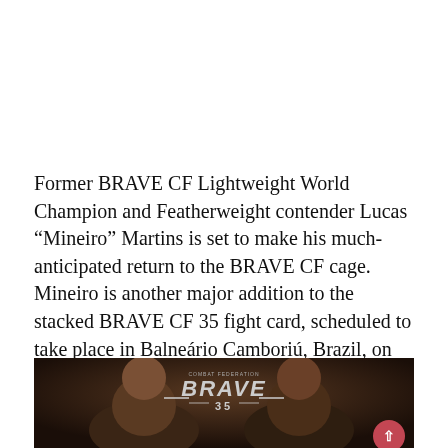Former BRAVE CF Lightweight World Champion and Featherweight contender Lucas “Mineiro” Martins is set to make his much-anticipated return to the BRAVE CF cage. Mineiro is another major addition to the stacked BRAVE CF 35 fight card, scheduled to take place in Balneário Camboriú, Brazil, on March 28th.
[Figure (photo): Promotional image for BRAVE CF 35 fight card featuring two fighters facing the camera with the BRAVE Combat Federation logo and '35' visible at the top center. Dark dramatic background.]